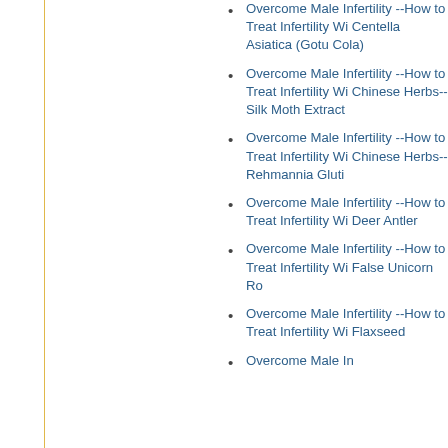Overcome Male Infertility --How to Treat Infertility With Centella Asiatica (Gotu Cola)
Overcome Male Infertility --How to Treat Infertility With Chinese Herbs--Silk Moth Extract
Overcome Male Infertility --How to Treat Infertility With Chinese Herbs--Rehmannia Gluti
Overcome Male Infertility --How to Treat Infertility With Deer Antler
Overcome Male Infertility --How to Treat Infertility With False Unicorn Ro
Overcome Male Infertility --How to Treat Infertility With Flaxseed
Overcome Male In